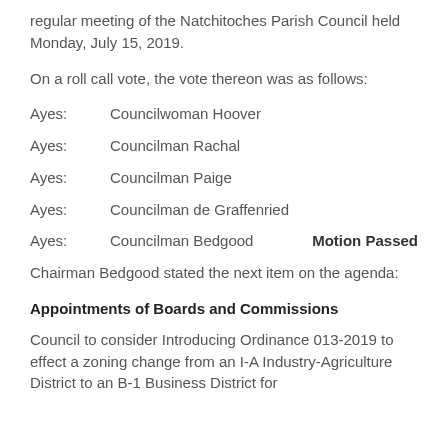regular meeting of the Natchitoches Parish Council held Monday, July 15, 2019.
On a roll call vote, the vote thereon was as follows:
Ayes:    Councilwoman Hoover
Ayes:    Councilman Rachal
Ayes:    Councilman Paige
Ayes:    Councilman de Graffenried
Ayes:    Councilman Bedgood    Motion Passed
Chairman Bedgood stated the next item on the agenda:
Appointments of Boards and Commissions
Council to consider Introducing Ordinance 013-2019 to effect a zoning change from an I-A Industry-Agriculture District to an B-1 Business District for